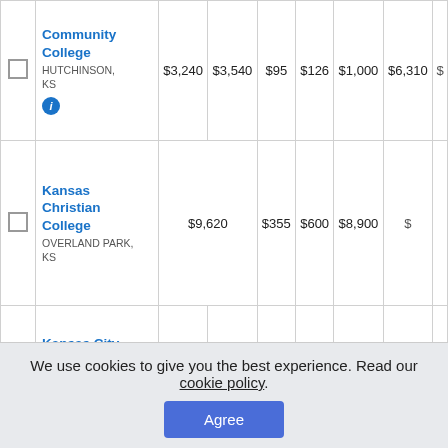|  | College | Col3 | Col4 | Col5 | Col6 | Col7 | Col8 | ... |
| --- | --- | --- | --- | --- | --- | --- | --- | --- |
| ☐ | Community College
HUTCHINSON, KS | $3,240 | $3,540 | $95 | $126 | $1,000 | $6,310 | $... |
| ☐ | Kansas Christian College
OVERLAND PARK, KS | $9,620 |  | $355 | $600 | $8,900 | $... |
| ☐ | Kansas City Kansas Community College | $3,120 | $3,300 | $88 | $195 | $1,000 | $7,498 | $... |
We use cookies to give you the best experience. Read our cookie policy.